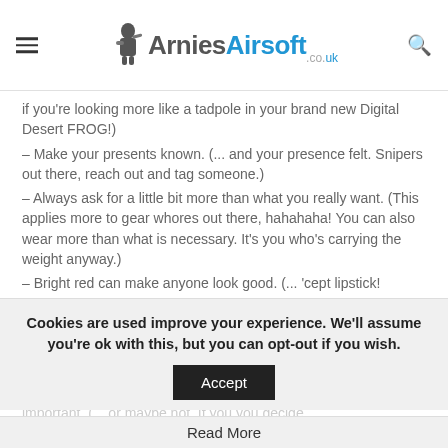ArniesAirsoft.co.uk
if you're looking more like a tadpole in your brand new Digital Desert FROG!)
– Make your presents known. (... and your presence felt. Snipers out there, reach out and tag someone.)
– Always ask for a little bit more than what you really want. (This applies more to gear whores out there, hahahaha! You can also wear more than what is necessary. It's you who's carrying the weight anyway.)
– Bright red can make anyone look good. (... 'cept lipstick! Puhleeeze!)
– Wear a wide belt and no one will notice how many pounds you've gained. (Right on! Hmmm... Time to get myself a blast belt....)
– If you only show up once a year, everyone will think you're very important. (... or maybe not. If you you decide
Cookies are used improve your experience. We'll assume you're ok with this, but you can opt-out if you wish.
Accept
Read More